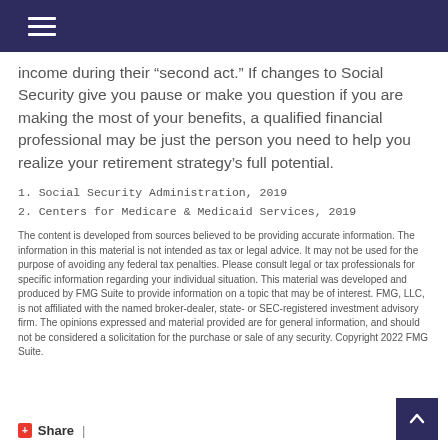income during their “second act.” If changes to Social Security give you pause or make you question if you are making the most of your benefits, a qualified financial professional may be just the person you need to help you realize your retirement strategy’s full potential.
1. Social Security Administration, 2019
2. Centers for Medicare & Medicaid Services, 2019
The content is developed from sources believed to be providing accurate information. The information in this material is not intended as tax or legal advice. It may not be used for the purpose of avoiding any federal tax penalties. Please consult legal or tax professionals for specific information regarding your individual situation. This material was developed and produced by FMG Suite to provide information on a topic that may be of interest. FMG, LLC, is not affiliated with the named broker-dealer, state- or SEC-registered investment advisory firm. The opinions expressed and material provided are for general information, and should not be considered a solicitation for the purchase or sale of any security. Copyright 2022 FMG Suite.
+ Share |